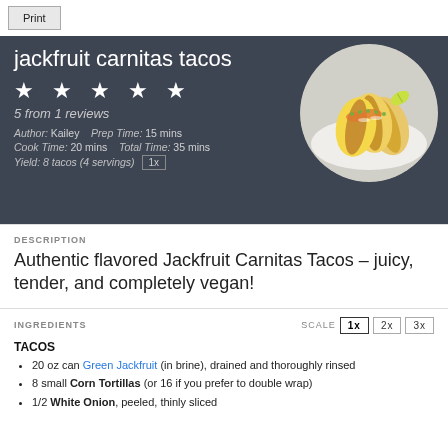Print
jackfruit carnitas tacos
★ ★ ★ ★ ★
5 from 1 reviews
Author: Kailey   Prep Time: 15 mins   Cook Time: 20 mins   Total Time: 35 mins   Yield: 8 tacos (4 servings) 1x
[Figure (photo): Photo of three jackfruit carnitas tacos arranged on a white plate, garnished with lime and herbs, in a circular crop]
DESCRIPTION
Authentic flavored Jackfruit Carnitas Tacos – juicy, tender, and completely vegan!
INGREDIENTS
SCALE  1x  2x  3x
TACOS
20 oz can Green Jackfruit (in brine), drained and thoroughly rinsed
8 small Corn Tortillas (or 16 if you prefer to double wrap)
1/2 White Onion, peeled, thinly sliced